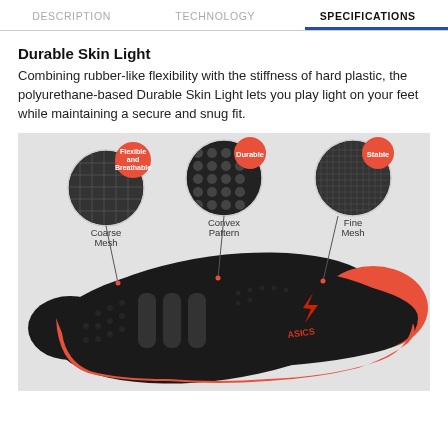DESCRIPTION | TECHNOLOGY | SPECIFICATIONS
Durable Skin Light
Combining rubber-like flexibility with the stiffness of hard plastic, the polyurethane-based Durable Skin Light lets you play light on your feet while maintaining a secure and snug fit.
[Figure (infographic): Top-down view of a black and red athletic shoe (Asics) with three circular callouts showing material zone details: 'Coarse Mesh' labeled Flexible and Breathable, 'Convex Pattern' labeled Durable, and 'Fine Mesh' labeled Stable.]